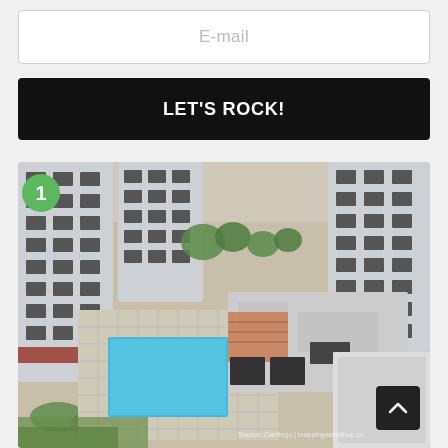E-mail
LET'S ROCK!
[Figure (photo): Aerial view of a residential apartment complex with multiple high-rise buildings surrounding a courtyard with a blue swimming pool and a low-rise building with a rooftop terrace. Green trees visible in the background and foreground.]